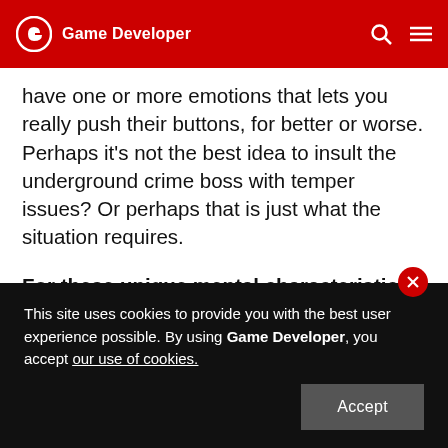Game Developer
have one or more emotions that lets you really push their buttons, for better or worse. Perhaps it's not the best idea to insult the underground crime boss with temper issues? Or perhaps that is just what the situation requires.
For these unique mental characteristics, we use various mental traits. These have an effect on the mood of the characters and how they react to your attempts to use different methods to sway them, as well as some other game-related mechanics.
This site uses cookies to provide you with the best user experience possible. By using Game Developer, you accept our use of cookies.